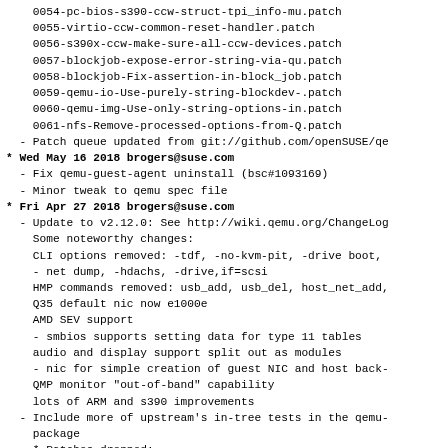0054-pc-bios-s390-ccw-struct-tpi_info-mu.patch
    0055-virtio-ccw-common-reset-handler.patch
    0056-s390x-ccw-make-sure-all-ccw-devices.patch
    0057-blockjob-expose-error-string-via-qu.patch
    0058-blockjob-Fix-assertion-in-block_job.patch
    0059-qemu-io-Use-purely-string-blockdev-.patch
    0060-qemu-img-Use-only-string-options-in.patch
    0061-nfs-Remove-processed-options-from-Q.patch
  - Patch queue updated from git://github.com/openSUSE/qe
* Wed May 16 2018 brogers@suse.com
  - Fix qemu-guest-agent uninstall (bsc#1093169)
  - Minor tweak to qemu spec file
* Fri Apr 27 2018 brogers@suse.com
  - Update to v2.12.0: See http://wiki.qemu.org/ChangeLog
    Some noteworthy changes:
    CLI options removed: -tdf, -no-kvm-pit, -drive boot,
    - net dump, -hdachs, -drive,if=scsi
    HMP commands removed: usb_add, usb_del, host_net_add,
    Q35 default nic now e1000e
    AMD SEV support
    - smbios supports setting data for type 11 tables
    audio and display support split out as modules
    - nic for simple creation of guest NIC and host back-
    QMP monitor "out-of-band" capability
    lots of ARM and s390 improvements
  - Include more of upstream's in-tree tests in the qemu-
    package
    * Patches dropped:
    0033-memfd-fix-configure-test.patch
    0034-qapi-use-items-values-instead-of-its.patch